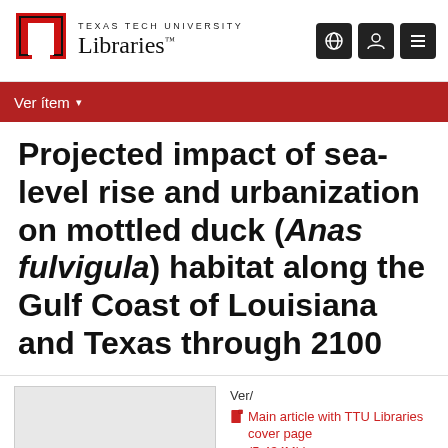[Figure (logo): Texas Tech University Libraries logo with red double-T emblem and institution name]
Ver ítem ▾
Projected impact of sea-level rise and urbanization on mottled duck (Anas fulvigula) habitat along the Gulf Coast of Louisiana and Texas through 2100
[Figure (photo): Document thumbnail preview image (gray placeholder)]
Ver/
Main article with TTU Libraries cover page (5.434Mb)